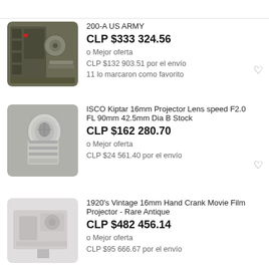[Figure (photo): Military film projector, green/grey metal, US Army equipment]
200-A US ARMY
CLP $333 324.56
o Mejor oferta
CLP $132 903.51 por el envío
11 lo marcaron como favorito
[Figure (photo): ISCO Kiptar 16mm projector lens, silver cylindrical metal lens]
ISCO Kiptar 16mm Projector Lens speed F2.0 FL 90mm 42.5mm Dia B Stock
CLP $162 280.70
o Mejor oferta
CLP $24 561.40 por el envío
[Figure (photo): 1920s vintage hand crank movie film projector, antique]
1920's Vintage 16mm Hand Crank Movie Film Projector - Rare Antique
CLP $482 456.14
o Mejor oferta
CLP $95 666.67 por el envío